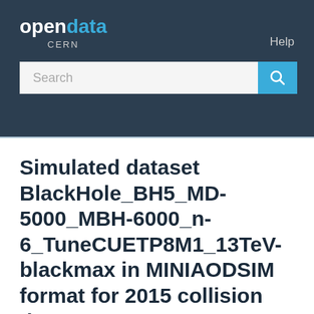opendata CERN
Help
About
Simulated dataset BlackHole_BH5_MD-5000_MBH-6000_n-6_TuneCUETP8M1_13TeV-blackmax in MINIAODSIM format for 2015 collision data